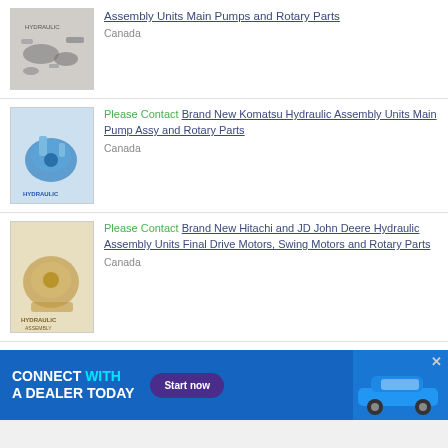[Figure (photo): Hydraulic pump assembly parts - various metal components on white background]
Assembly Units Main Pumps and Rotary Parts
Canada
[Figure (photo): Blue Komatsu hydraulic pump assembly unit]
Please Contact Brand New Komatsu Hydraulic Assembly Units Main Pump Assy and Rotary Parts
Canada
[Figure (photo): Yellow/tan colored Hitachi hydraulic final drive motor]
Please Contact Brand New Hitachi and JD John Deere Hydraulic Assembly Units Final Drive Motors, Swing Motors and Rotary Parts
Canada
[Figure (photo): Black gear/sprocket component - Hitachi/JD John Deere hydraulic assembly unit]
Please Contact Brand New Hitachi and JD John Deere Hydraulic Assembly Units Final Drive
[Figure (infographic): Advertisement banner: CONNECT WITH A DEALER TODAY - Start now button - car image]